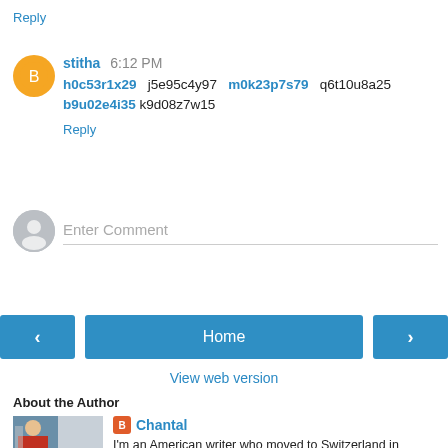Reply
stitha 6:12 PM
h0c53r1x29  j5e95c4y97  m0k23p7s79  q6t10u8a25 b9u02e4i35 k9d08z7w15
Reply
Enter Comment
[Figure (screenshot): Navigation buttons: left arrow, Home, right arrow]
View web version
About the Author
[Figure (photo): Author photo thumbnail]
Chantal
I'm an American writer who moved to Switzerland in